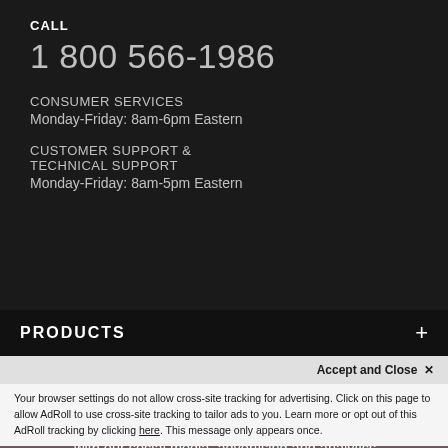CALL
1 800 566-1986
CONSUMER SERVICES
Monday-Friday: 8am-6pm Eastern
CUSTOMER SUPPORT & TECHNICAL SUPPORT
Monday-Friday: 8am-5pm Eastern
PRODUCTS
This website uses cookies to enhance user experience and to analyze performance and traffic on our website. We also share information about your use of our site with our social media, advertising and analytics partners. Cookie Policy
Accept and Close ✕
Your browser settings do not allow cross-site tracking for advertising. Click on this page to allow AdRoll to use cross-site tracking to tailor ads to you. Learn more or opt out of this AdRoll tracking by clicking here. This message only appears once.